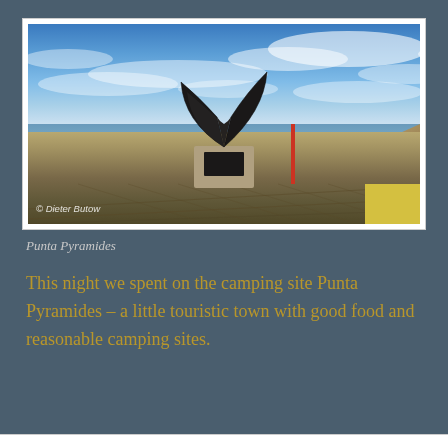[Figure (photo): A whale tail sculpture mounted on a stone plinth on a wooden boardwalk in Punta Pyramides, Argentina. Blue sky with wispy clouds above, water and cliffs visible in the background. Photo credit: © Dieter Butow]
Punta Pyramides
This night we spent on the camping site Punta Pyramides – a little touristic town with good food and reasonable camping sites.